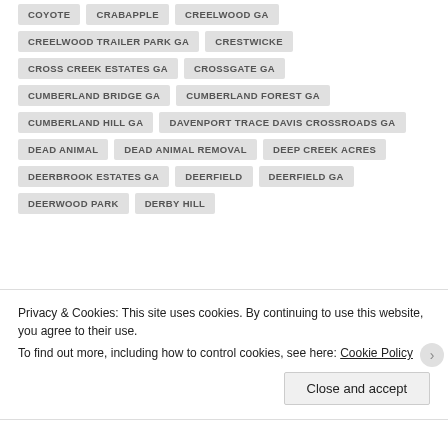COYOTE
CRABAPPLE
CREELWOOD GA
CREELWOOD TRAILER PARK GA
CRESTWICKE
CROSS CREEK ESTATES GA
CROSSGATE GA
CUMBERLAND BRIDGE GA
CUMBERLAND FOREST GA
CUMBERLAND HILL GA
DAVENPORT TRACE DAVIS CROSSROADS GA
DEAD ANIMAL
DEAD ANIMAL REMOVAL
DEEP CREEK ACRES
DEERBROOK ESTATES GA
DEERFIELD
DEERFIELD GA
DEERWOOD PARK
DERBY HILL
Privacy & Cookies: This site uses cookies. By continuing to use this website, you agree to their use.
To find out more, including how to control cookies, see here: Cookie Policy
Close and accept